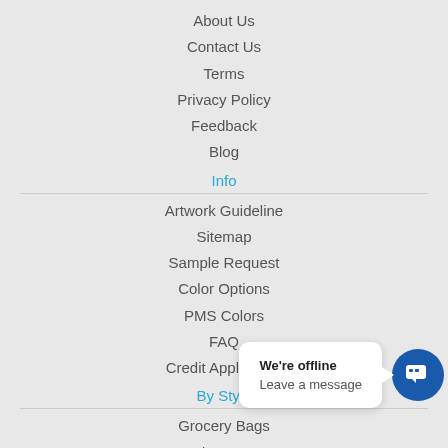About Us
Contact Us
Terms
Privacy Policy
Feedback
Blog
Info
Artwork Guideline
Sitemap
Sample Request
Color Options
PMS Colors
FAQ
Credit Application
By Style
Grocery Bags
Wine Bags
Library Bags
Trade Show Totes
Cooler Bags
Drawstring Bags
We're offline
Leave a message